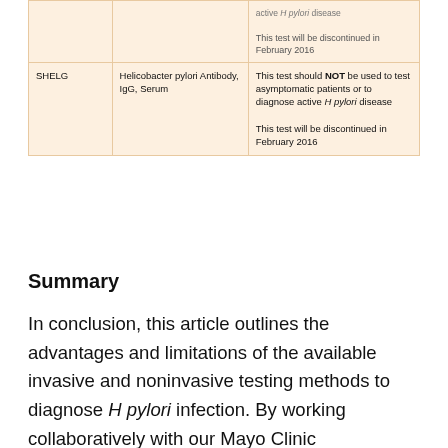| SHELG | Helicobacter pylori Antibody, IgG, Serum | This test should NOT be used to test asymptomatic patients or to diagnose active H pylori disease

This test will be discontinued in February 2016 |
Summary
In conclusion, this article outlines the advantages and limitations of the available invasive and noninvasive testing methods to diagnose H pylori infection. By working collaboratively with our Mayo Clinic gastroenterology colleagues, the Clinical Microbiology Laboratory has successfully improved ordering practices, replacing serologic testing with either the SAT or the UBT to evaluate patients with suspected H pylori infection. Implementation of this practice